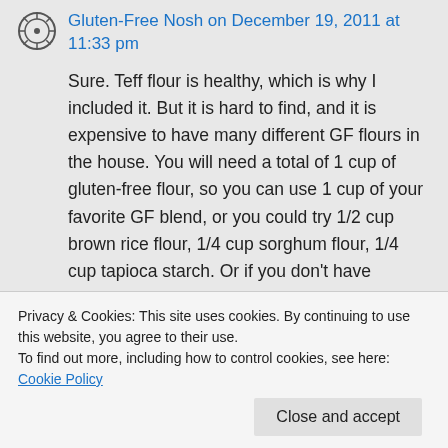Gluten-Free Nosh on December 19, 2011 at 11:33 pm
Sure. Teff flour is healthy, which is why I included it. But it is hard to find, and it is expensive to have many different GF flours in the house. You will need a total of 1 cup of gluten-free flour, so you can use 1 cup of your favorite GF blend, or you could try 1/2 cup brown rice flour, 1/4 cup sorghum flour, 1/4 cup tapioca starch. Or if you don’t have sorghum, you could use 1/2 cup brown rice
Privacy & Cookies: This site uses cookies. By continuing to use this website, you agree to their use.
To find out more, including how to control cookies, see here: Cookie Policy